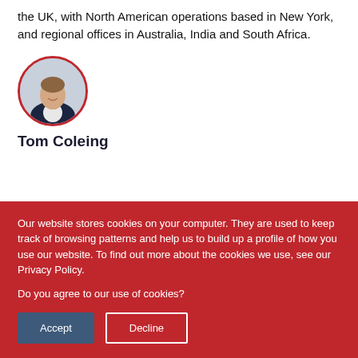the UK, with North American operations based in New York, and regional offices in Australia, India and South Africa.
[Figure (photo): Circular profile photo of Tom Coleing, a young man in a dark suit jacket with a white shirt, smiling. The photo is framed by a red circular border.]
Tom Coleing
Our website stores cookies on your computer. They are used to keep track of browsing patterns and help us to build up a profile of how you use our website. To find out more about the cookies we use, see our Privacy Policy.

Do you agree to our use of cookies?